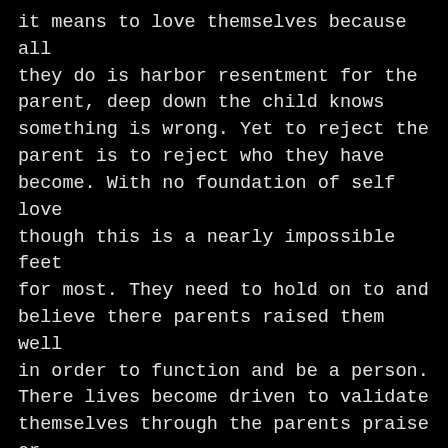it means to love themselves because all they do is harbor resentment for the parent, deep down the child knows something is wrong. Yet to reject the parent is to reject who they have become. With no foundation of self love though this is a nearly impossible feet for most. They need to hold on to and believe there parents raised them well in order to function and be a person. There lives become driven to validate themselves through the parents praise or rejection. they start life off living in anxeity and never learn what its like to not have anxiety. Without the anxiety or love theres nothing there but emptiness. What I want people to understand is that